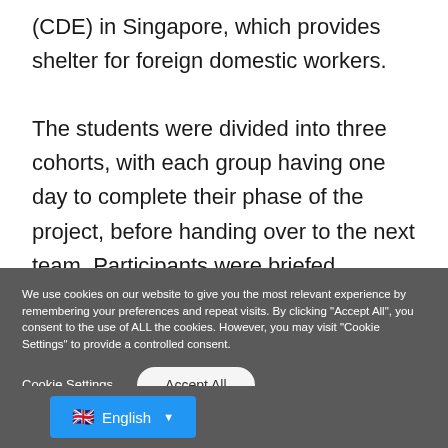(CDE) in Singapore, which provides shelter for foreign domestic workers.
The students were divided into three cohorts, with each group having one day to complete their phase of the project, before handing over to the next team. Participants were briefed
We use cookies on our website to give you the most relevant experience by remembering your preferences and repeat visits. By clicking "Accept All", you consent to the use of ALL the cookies. However, you may visit "Cookie Settings" to provide a controlled consent.
Cookie Settings
Accept All
🇬🇧 English ▼